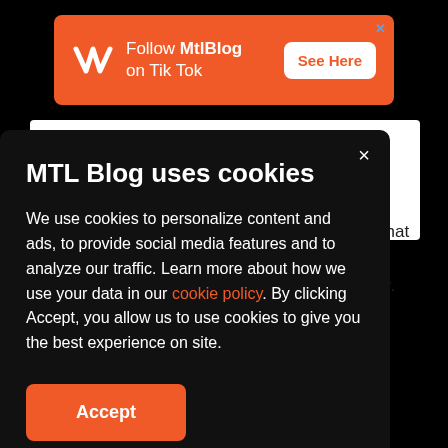[Figure (screenshot): Orange advertisement banner: Follow MtlBlog on Tik Tok with See Here button and MTL Blog logo]
See on Instagram
ffee that
ves
mmer.
MTL Blog uses cookies
We use cookies to personalize content and ads, to provide social media features and to analyze our traffic. Learn more about how we use your data in our cookie policy. By clicking Accept, you allow us to use cookies to give you the best experience on site.
Accept